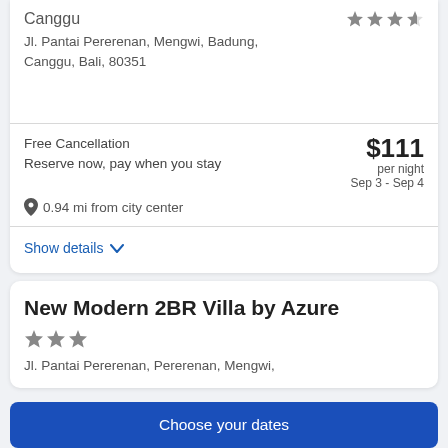Canggu
Jl. Pantai Pererenan, Mengwi, Badung, Canggu, Bali, 80351
Free Cancellation
Reserve now, pay when you stay
$111 per night
Sep 3 - Sep 4
0.94 mi from city center
Show details
New Modern 2BR Villa by Azure
Jl. Pantai Pererenan, Pererenan, Mengwi,
Choose your dates